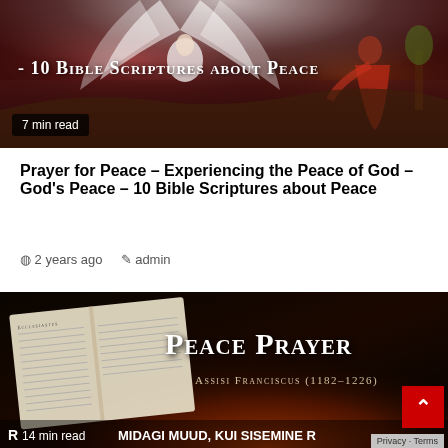[Figure (photo): Fantasy/religious banner image showing an angel with white wings and a woman in red robe, with overlay text '10 Bible Scriptures about Peace' and '7 min read' badge]
Prayer for Peace – Experiencing the Peace of God – God's Peace – 10 Bible Scriptures about Peace
2 years ago  admin
[Figure (photo): Dark fantasy image of an open Bible book with 'Peace Prayer' title text, 'Assisi Franciscus (1182–1226)' subtitle, and '14 min read' badge, with partial text 'MIDAGI MUUD, KUI SISEMINE R']